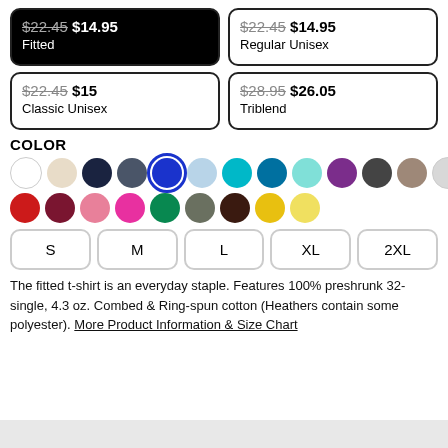$22.45 $14.95 Fitted (selected)
$22.45 $14.95 Regular Unisex
$22.45 $15 Classic Unisex
$28.95 $26.05 Triblend
COLOR
[Figure (other): Color swatches: white, cream, navy, steel blue, royal blue (selected), light blue, teal, dark teal, light cyan, purple, dark gray, taupe, light gray (top row); red, maroon, pink, hot pink, green, olive, dark brown, yellow gold, light yellow (bottom row)]
S
M
L
XL
2XL
The fitted t-shirt is an everyday staple. Features 100% preshrunk 32-single, 4.3 oz. Combed & Ring-spun cotton (Heathers contain some polyester). More Product Information & Size Chart